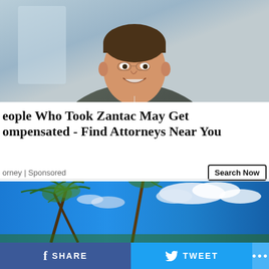[Figure (photo): Portrait photo of a smiling young man in a grey vest jacket, light blue/grey background]
eople Who Took Zantac May Get ompensated - Find Attorneys Near You
orney | Sponsored
Search Now
[Figure (photo): Tropical scene with palm trees against a bright blue sky with white clouds]
SHARE   TWEET   ...